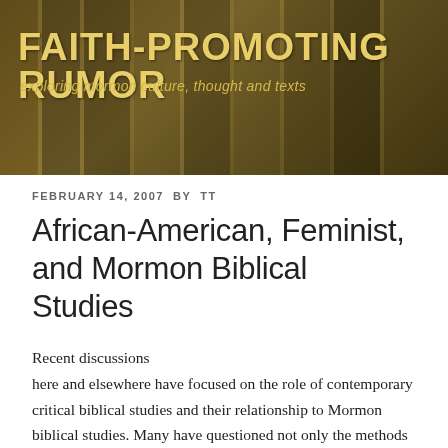[Figure (photo): Header banner with book spines in amber/gold/brown tones serving as background for the blog title]
FAITH-PROMOTING RUMOR
exploring mormon culture, thought and texts
FEBRUARY 14, 2007 BY TT
African-American, Feminist, and Mormon Biblical Studies
Recent discussions here and elsewhere have focused on the role of contemporary critical biblical studies and their relationship to Mormon biblical studies. Many have questioned not only the methods of a “scholarly” Mormon biblical studies, but also its possibility. In some circles, the dominant model for appropriation of contemporary scholarship is denominational, and the Catholic experience is taken as emblematic. I have been